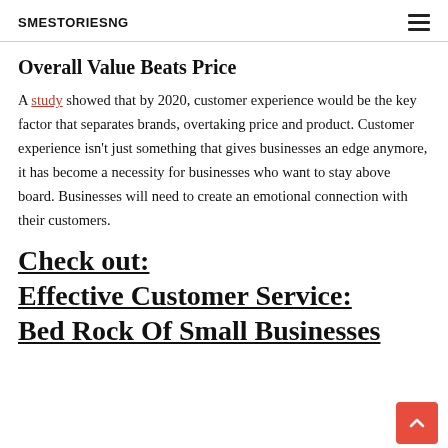SMESTORIESNG
Overall Value Beats Price
A study showed that by 2020, customer experience would be the key factor that separates brands, overtaking price and product. Customer experience isn't just something that gives businesses an edge anymore, it has become a necessity for businesses who want to stay above board. Businesses will need to create an emotional connection with their customers.
Check out: Effective Customer Service: Bed Rock Of Small Businesses